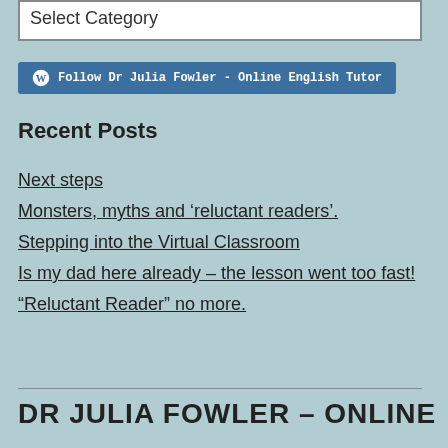Select Category
Follow Dr Julia Fowler - Online English Tutor
Recent Posts
Next steps
Monsters, myths and ‘reluctant readers’.
Stepping into the Virtual Classroom
Is my dad here already – the lesson went too fast!
“Reluctant Reader” no more.
DR JULIA FOWLER – ONLINE